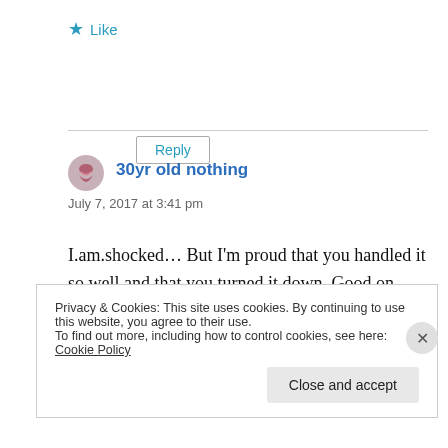★ Like
Reply
30yr old nothing
July 7, 2017 at 3:41 pm
I.am.shocked… But I'm proud that you handled it so well and that you turned it down. Good on you!!
Privacy & Cookies: This site uses cookies. By continuing to use this website, you agree to their use.
To find out more, including how to control cookies, see here: Cookie Policy
Close and accept